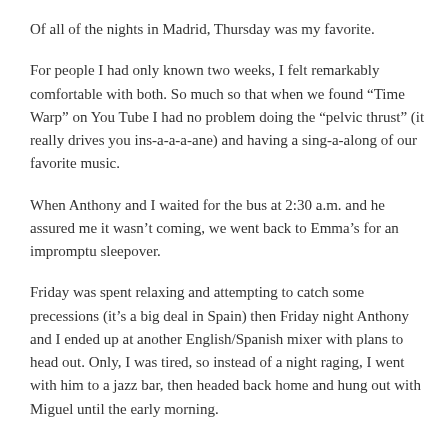Of all of the nights in Madrid, Thursday was my favorite.
For people I had only known two weeks, I felt remarkably comfortable with both. So much so that when we found “Time Warp” on You Tube I had no problem doing the “pelvic thrust” (it really drives you ins-a-a-a-ane) and having a sing-a-along of our favorite music.
When Anthony and I waited for the bus at 2:30 a.m. and he assured me it wasn’t coming, we went back to Emma’s for an impromptu sleepover.
Friday was spent relaxing and attempting to catch some precessions (it’s a big deal in Spain) then Friday night Anthony and I ended up at another English/Spanish mixer with plans to head out. Only, I was tired, so instead of a night raging, I went with him to a jazz bar, then headed back home and hung out with Miguel until the early morning.